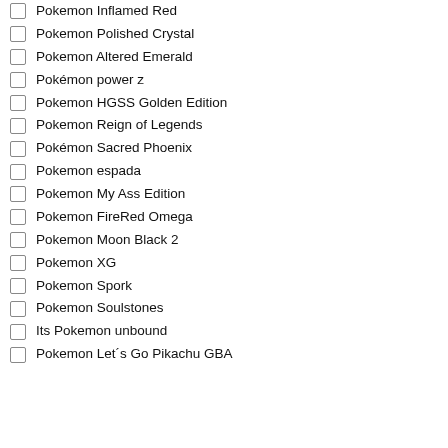Pokemon Inflamed Red
Pokemon Polished Crystal
Pokemon Altered Emerald
Pokémon power z
Pokemon HGSS Golden Edition
Pokemon Reign of Legends
Pokémon Sacred Phoenix
Pokemon espada
Pokemon My Ass Edition
Pokemon FireRed Omega
Pokemon Moon Black 2
Pokemon XG
Pokemon Spork
Pokemon Soulstones
Its Pokemon unbound
Pokemon Let´s Go Pikachu GBA